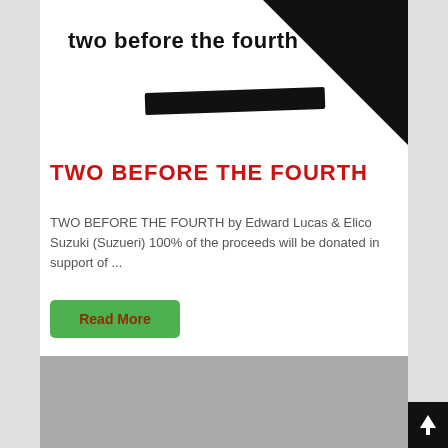[Figure (illustration): Book cover image for 'two before the fourth' with bold black title text, a thick black diagonal strikethrough bar, and a black triangular corner element on the right side.]
TWO BEFORE THE FOURTH
TWO BEFORE THE FOURTH by Edward Lucas & Elico Suzuki (Suzueri) 100% of the proceeds will be donated in support of ...
Read More
[Figure (photo): Grey placeholder image at bottom of page.]